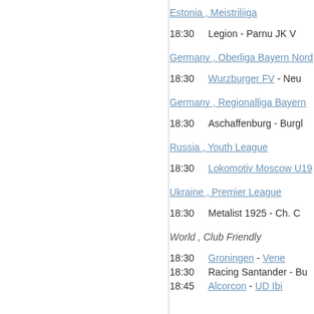Estonia , Meistriliiga
18:30   Legion - Parnu JK V
Germany , Oberliga Bayern Nord
18:30   Wurzburger FV - Neu
Germany , Regionalliga Bayern
18:30   Aschaffenburg - Burgl
Russia , Youth League
18:30   Lokomotiv Moscow U19 -
Ukraine , Premier League
18:30   Metalist 1925 - Ch. C
World , Club Friendly
18:30   Groningen - Vene
18:30   Racing Santander - Bu
18:45   Alcorcon - UD Ibi